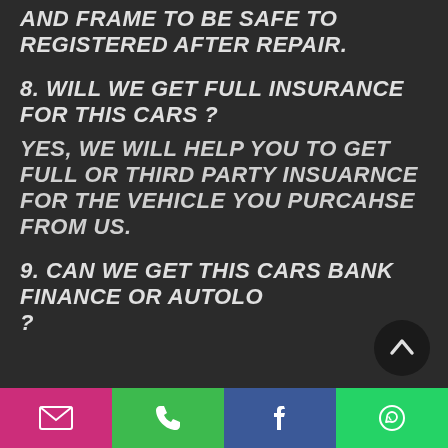AND FRAME TO BE SAFE TO REGISTERED AFTER REPAIR.
8. WILL WE GET FULL INSURANCE FOR THIS CARS ?
YES, WE WILL HELP YOU TO GET FULL OR THIRD PARTY INSUARNCE FOR THE VEHICLE YOU PURCAHSE FROM US.
9. CAN WE GET THIS CARS BANK FINANCE OR AUTOLOAN ?
[Figure (other): Bottom navigation bar with four buttons: email (pink/magenta), phone (green), Facebook (blue), WhatsApp (green)]